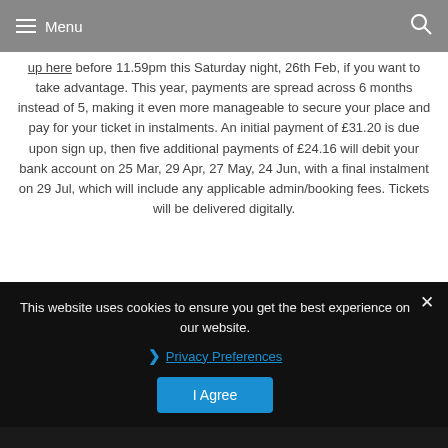Menu
up here before 11.59pm this Saturday night, 26th Feb, if you want to take advantage. This year, payments are spread across 6 months instead of 5, making it even more manageable to secure your place and pay for your ticket in instalments. An initial payment of £31.20 is due upon sign up, then five additional payments of £24.16 will debit your bank account on 25 Mar, 29 Apr, 27 May, 24 Jun, with a final instalment on 29 Jul, which will include any applicable admin/booking fees. Tickets will be delivered digitally.
All VIP packages, Early Bird tix and campervan passes have sold out, you can still snap up a standard/weekend camping ticket, plus day & child tickets available from our ticket store. Mini moshers under age 4 get in free!
BLOODSTOCK's 2022 names Dio main stage headliners are: BEHEMOTH, LAMB OF
This website uses cookies to ensure you get the best experience on our website.
Privacy Preferences
I Agree